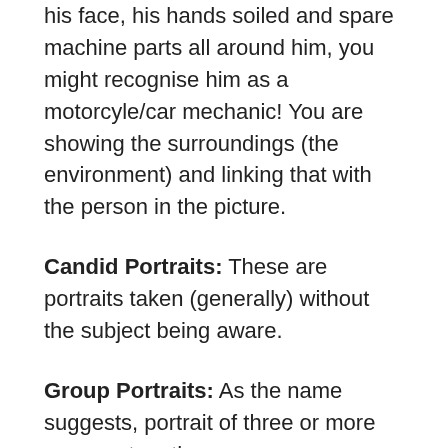his face, his hands soiled and spare machine parts all around him, you might recognise him as a motorcyle/car mechanic! You are showing the surroundings (the environment) and linking that with the person in the picture.
Candid Portraits: These are portraits taken (generally) without the subject being aware.
Group Portraits: As the name suggests, portrait of three or more persons together.
Close-up Portraits: Here we take a very close shot, often cutting part of the face/headgear to place greater emphasis on the eyes.
Many budding portrait photographers have a wrong notion that one needs an array of lights to create an